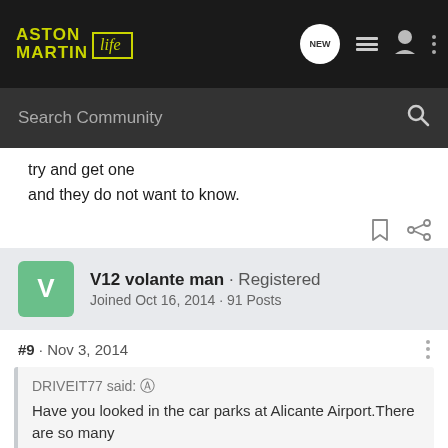Aston Martin Life - Navigation header with search
try and get one
and they do not want to know.
V12 volante man · Registered
Joined Oct 16, 2014 · 91 Posts
#9 · Nov 3, 2014
DRIVEIT77 said: ↑
Have you looked in the car parks at Alicante Airport.There are so many...